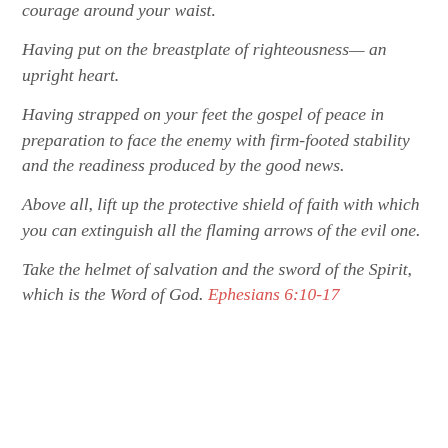courage around your waist.
Having put on the breastplate of righteousness— an upright heart.
Having strapped on your feet the gospel of peace in preparation to face the enemy with firm-footed stability and the readiness produced by the good news.
Above all, lift up the protective shield of faith with which you can extinguish all the flaming arrows of the evil one.
Take the helmet of salvation and the sword of the Spirit, which is the Word of God. Ephesians 6:10-17